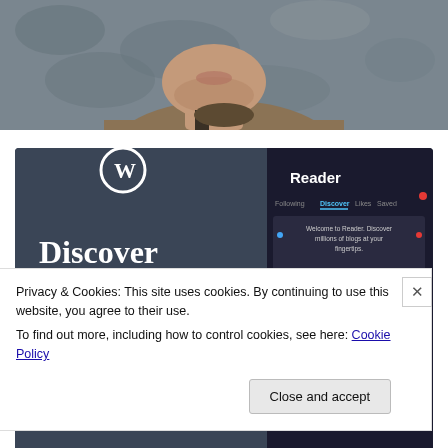[Figure (photo): Partial view of a man's face from the nose down, wearing a jacket, against a grey textured background]
[Figure (screenshot): WordPress.com 'Reader' advertisement showing 'Discover new reads on the go.' with app UI showing Reader tabs: Following, Discover, Likes, Saved, and suggested tags: Family, Reading, Music, and a blog 'Around the World with Pam']
Privacy & Cookies: This site uses cookies. By continuing to use this website, you agree to their use.
To find out more, including how to control cookies, see here: Cookie Policy
Close and accept